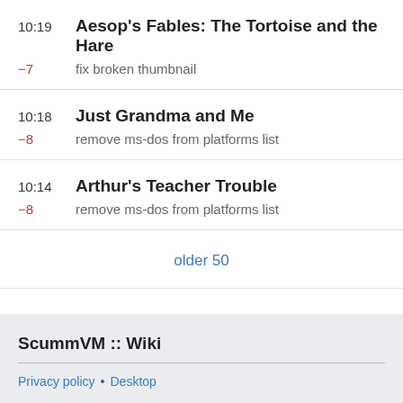10:19 Aesop's Fables: The Tortoise and the Hare
-7 fix broken thumbnail
10:18 Just Grandma and Me
-8 remove ms-dos from platforms list
10:14 Arthur's Teacher Trouble
-8 remove ms-dos from platforms list
older 50
ScummVM :: Wiki
Privacy policy • Desktop